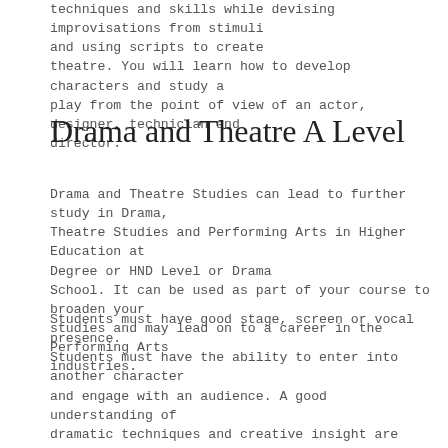techniques and skills while devising improvisations from stimuli and using scripts to create theatre. You will learn how to develop characters and study a play from the point of view of an actor, designer, technician and director.
Drama and Theatre A Level
Drama and Theatre Studies can lead to further study in Drama, Theatre Studies and Performing Arts in Higher Education at Degree or HND Level or Drama School. It can be used as part of your course to broaden your studies and may lead on to a career in the Performing Arts industries.
Students must have good stage, screen or vocal presence. Students must have the ability to enter into another character and engage with an audience. A good understanding of dramatic techniques and creative insight are also required. Students should have the ability to memorise lines and having the confidence, energy and dedication to perform.